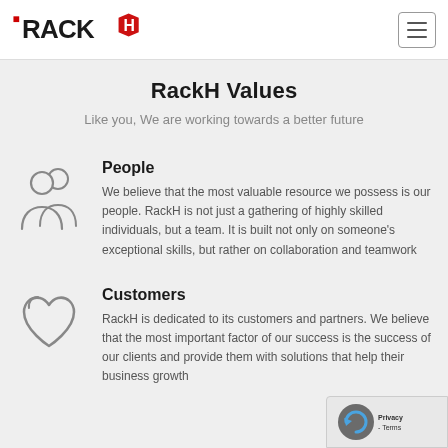RackH logo and navigation
RackH Values
Like you, We are working towards a better future
People
We believe that the most valuable resource we possess is our people. RackH is not just a gathering of highly skilled individuals, but a team. It is built not only on someone's exceptional skills, but rather on collaboration and teamwork
Customers
RackH is dedicated to its customers and partners. We believe that the most important factor of our success is the success of our clients and provide them with solutions that help their business growth